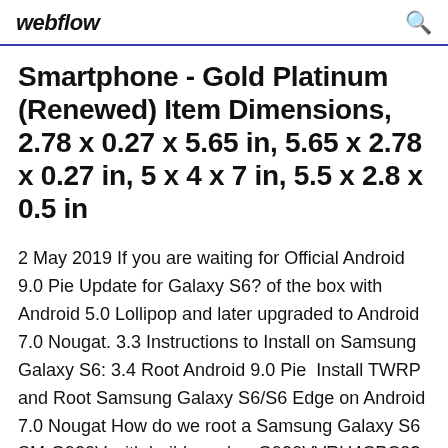webflow
Smartphone - Gold Platinum (Renewed) Item Dimensions, 2.78 x 0.27 x 5.65 in, 5.65 x 2.78 x 0.27 in, 5 x 4 x 7 in, 5.5 x 2.8 x 0.5 in
2 May 2019 If you are waiting for Official Android 9.0 Pie Update for Galaxy S6? of the box with Android 5.0 Lollipop and later upgraded to Android 7.0 Nougat. 3.3 Instructions to Install on Samsung Galaxy S6: 3.4 Root Android 9.0 Pie  Install TWRP and Root Samsung Galaxy S6/S6 Edge on Android 7.0 Nougat How do we root a Samsung Galaxy S6 SM-G920V with build number G920VVRU4CPC2? The guide below is for all